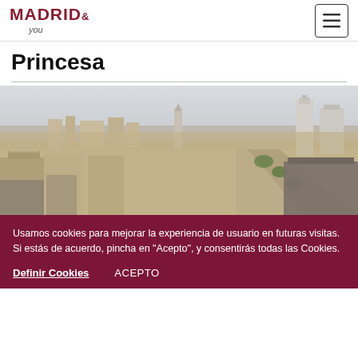MADRID& you — navigation header with hamburger menu
Princesa
[Figure (photo): Aerial panoramic view of Madrid cityscape showing dense urban buildings, wide avenues, and skyscrapers in the distance under a hazy sky]
Usamos cookies para mejorar la experiencia de usuario en futuras visitas. Si estás de acuerdo, pincha en "Acepto", y consentirás todas las Cookies.
Definir Cookies   ACEPTO